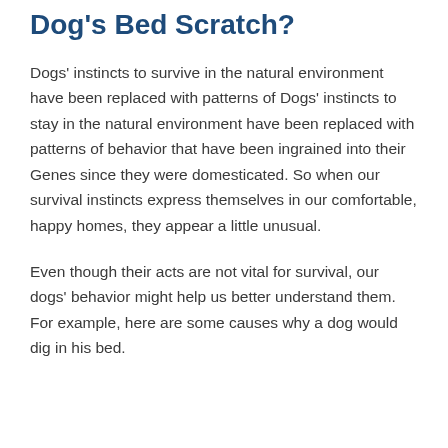Dog's Bed Scratch?
Dogs' instincts to survive in the natural environment have been replaced with patterns of Dogs' instincts to stay in the natural environment have been replaced with patterns of behavior that have been ingrained into their Genes since they were domesticated. So when our survival instincts express themselves in our comfortable, happy homes, they appear a little unusual.
Even though their acts are not vital for survival, our dogs' behavior might help us better understand them. For example, here are some causes why a dog would dig in his bed.